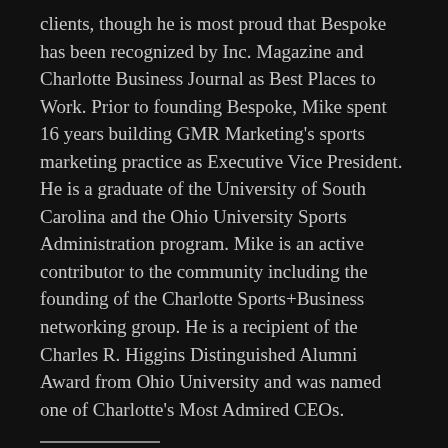clients, though he is most proud that Bespoke has been recognized by Inc. Magazine and Charlotte Business Journal as Best Places to Work. Prior to founding Bespoke, Mike spent 16 years building GMR Marketing's sports marketing practice as Executive Vice President. He is a graduate of the University of South Carolina and the Ohio University Sports Administration program. Mike is an active contributor to the community including the founding of the Charlotte Sports+Business networking group. He is a recipient of the Charles R. Higgins Distinguished Alumni Award from Ohio University and was named one of Charlotte's Most Admired CEOs.
SHARE THIS:
Twitter  Facebook